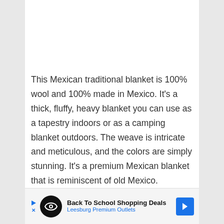This Mexican traditional blanket is 100% wool and 100% made in Mexico. It's a thick, fluffy, heavy blanket you can use as a tapestry indoors or as a camping blanket outdoors. The weave is intricate and meticulous, and the colors are simply stunning. It's a premium Mexican blanket that is reminiscent of old Mexico.
This high quality Mexican blanket looks resplendent in the home. It's a nice touch to find
[Figure (other): Advertisement banner: Back To School Shopping Deals - Leesburg Premium Outlets, with logo and navigation arrow]